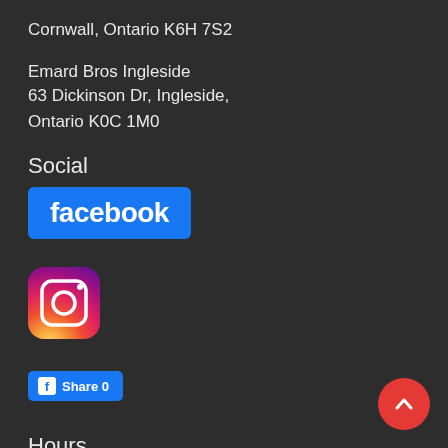Cornwall, Ontario K6H 7S2
Emard Bros Ingleside
63 Dickinson Dr, Ingleside,
Ontario K0C 1M0
Social
[Figure (logo): Facebook logo - blue rectangle with white 'facebook' text]
[Figure (logo): Instagram app icon with gradient background]
[Figure (other): Facebook Share button showing 'Share 0']
Hours
Monday - Friday    07:00 AM - 05:00 PM
Saturday    07:00 AM - 04:00 PM